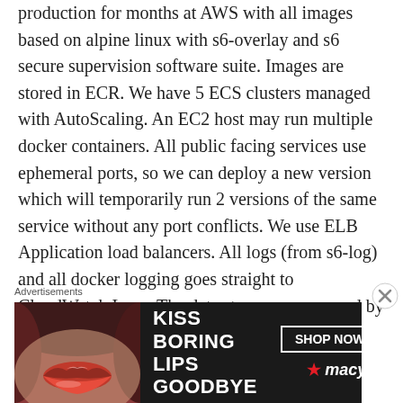production for months at AWS with all images based on alpine linux with s6-overlay and s6 secure supervision software suite. Images are stored in ECR. We have 5 ECS clusters managed with AutoScaling. An EC2 host may run multiple docker containers. All public facing services use ephemeral ports, so we can deploy a new version which will temporarily run 2 versions of the same service without any port conflicts. We use ELB Application load balancers. All logs (from s6-log) and all docker logging goes straight to CloudWatch Logs. The data stores are managed by AWS (RDS Aurora,
Advertisements
[Figure (infographic): Macy's advertisement banner with text 'KISS BORING LIPS GOODBYE' and a 'SHOP NOW' button with Macy's star logo on dark background with lips image]